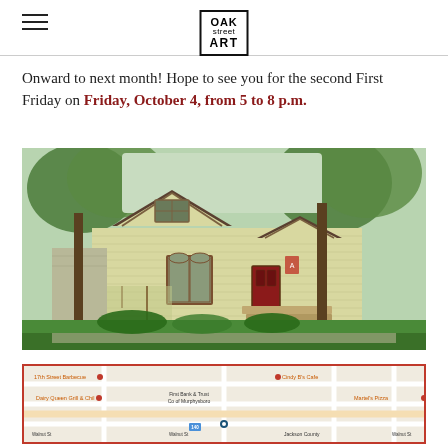OAK street ART
Onward to next month! Hope to see you for the second First Friday on Friday, October 4, from 5 to 8 p.m.
[Figure (photo): Exterior photo of Oak Street Art gallery, a Victorian-style yellow house with trees in front, red door visible, on a sunny day with green lawn]
[Figure (map): Google Maps showing location near 17th Street Barbecue, Dairy Queen Grill & Chill, First Bank & Trust Co of Murphysboro, Cindy B's Cafe, Martel's Pizza, Jackson County]